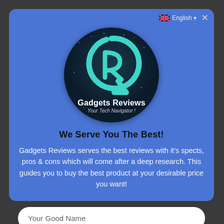[Figure (logo): Gadgets Reviews circular logo with teal R-shaped icon on dark starry background, text 'Gadgets Reviews' and 'Your Tech Navigator!']
We Serve You The Best!
Gadgets Reviews serves the best reviews with it's spects, pros & cons which will come after a deep research. This guides you to buy the best product at your desirable price you want!
Your Good Name
Your Email Please
Get Updated Now!
Follow Us!